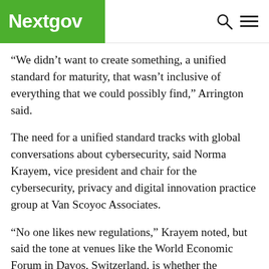Nextgov
“We didn’t want to create something, a unified standard for maturity, that wasn’t inclusive of everything that we could possibly find,” Arrington said.
The need for a unified standard tracks with global conversations about cybersecurity, said Norma Krayem, vice president and chair for the cybersecurity, privacy and digital innovation practice group at Van Scoyoc Associates.
“No one likes new regulations,” Krayem noted, but said the tone at venues like the World Economic Forum in Davos, Switzerland, is whether the voluntary system the U.S. has largely relied on so far has been effective for ensuring protections are in place.
Within the U.S., Krayem observed how the CMMC’s ideals are reflected in recent recommendations issued by the Congressionally-mandated Cyberspace Solarium Commission